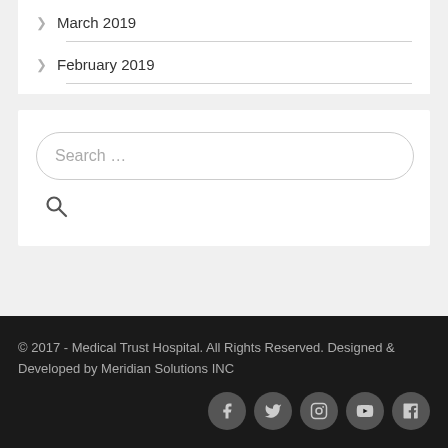March 2019
February 2019
Search …
© 2017 - Medical Trust Hospital. All Rights Reserved. Designed & Developed by Meridian Solutions INC